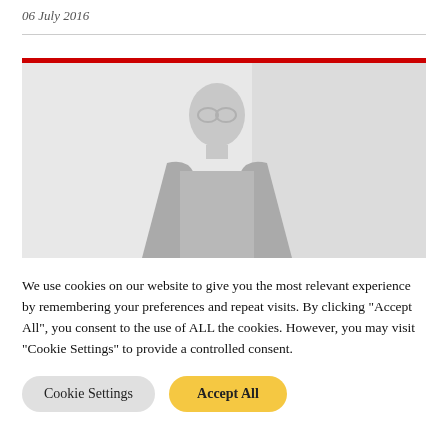06 July 2016
[Figure (photo): A faded/washed-out photo of a man wearing glasses and a dark jacket, seated or standing in a bright interior environment. The image has a light, desaturated appearance with a red bar at the top.]
We use cookies on our website to give you the most relevant experience by remembering your preferences and repeat visits. By clicking "Accept All", you consent to the use of ALL the cookies. However, you may visit "Cookie Settings" to provide a controlled consent.
Cookie Settings | Accept All